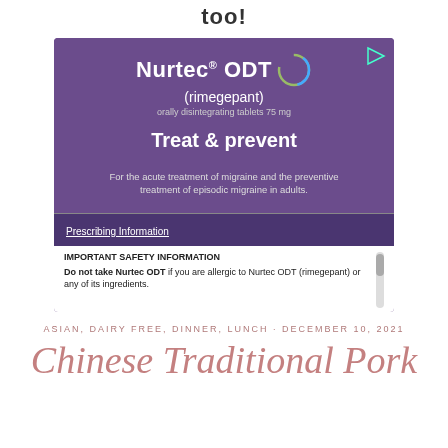too!
[Figure (other): Advertisement for Nurtec ODT (rimegepant) orally disintegrating tablets 75 mg. Purple background. Text: 'Treat & prevent'. 'For the acute treatment of migraine and the preventive treatment of episodic migraine in adults.' Prescribing Information link. Important Safety Information: 'Do not take Nurtec ODT if you are allergic to Nurtec ODT (rimegepant) or any of its ingredients.']
ASIAN, DAIRY FREE, DINNER, LUNCH · DECEMBER 10, 2021
Chinese Traditional Pork